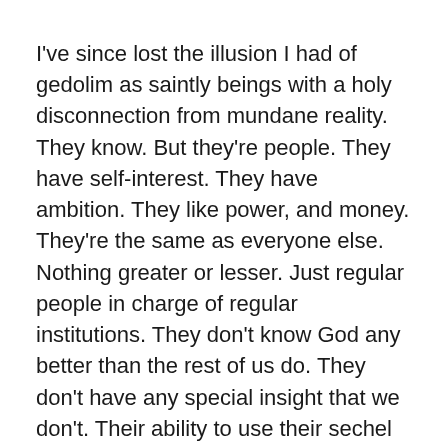I've since lost the illusion I had of gedolim as saintly beings with a holy disconnection from mundane reality. They know. But they're people. They have self-interest. They have ambition. They like power, and money. They're the same as everyone else. Nothing greater or lesser. Just regular people in charge of regular institutions. They don't know God any better than the rest of us do. They don't have any special insight that we don't. Their ability to use their sechel isn't any different from ours. There's nothing innately special about any of them.
They're gedolim because they have power. They run powerful institutions. They control powerful amounts of